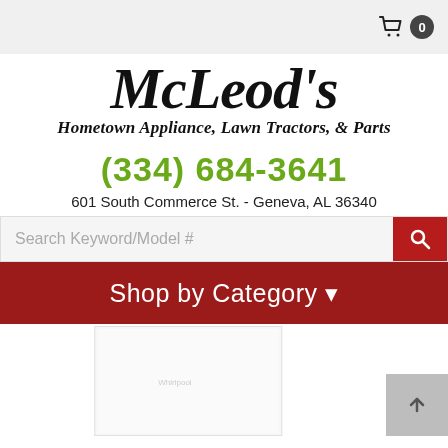Cart: 0
[Figure (logo): McLeod's Hometown Appliance, Lawn Tractors, & Parts logo in cursive script]
(334) 684-3641
601 South Commerce St. - Geneva, AL 36340
[Figure (screenshot): Search bar with placeholder text 'Search Keyword/Model #' and a red search button]
Shop by Category
[Figure (photo): Partial product image of a white appliance (likely a washer or freezer) at the bottom of the page]